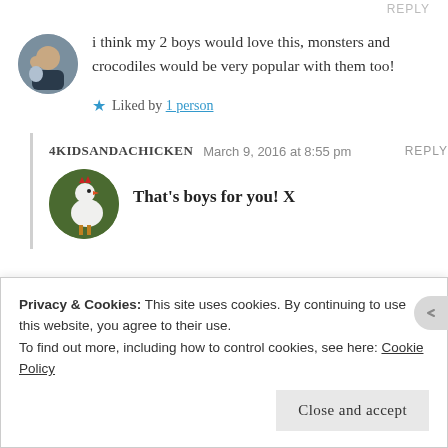REPLY
i think my 2 boys would love this, monsters and crocodiles would be very popular with them too!
★ Liked by 1 person
4KIDSANDACHICKEN   March 9, 2016 at 8:55 pm   REPLY
That's boys for you! X
Privacy & Cookies: This site uses cookies. By continuing to use this website, you agree to their use.
To find out more, including how to control cookies, see here: Cookie Policy
Close and accept